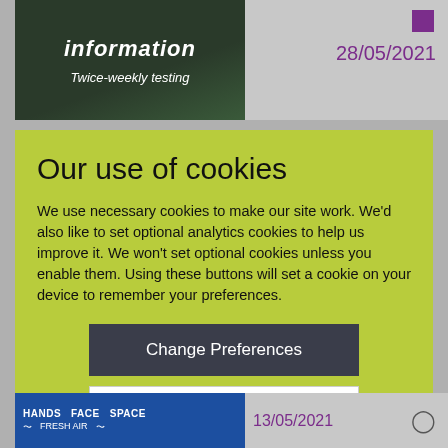[Figure (screenshot): Background showing top-left dark image with 'information' and 'Twice-weekly testing' text, top-right grey panel with date 28/05/2021 and purple square, bottom strips with COVID guidance.]
Our use of cookies
We use necessary cookies to make our site work. We'd also like to set optional analytics cookies to help us improve it. We won't set optional cookies unless you enable them. Using these buttons will set a cookie on your device to remember your preferences.
Change Preferences
Accept All